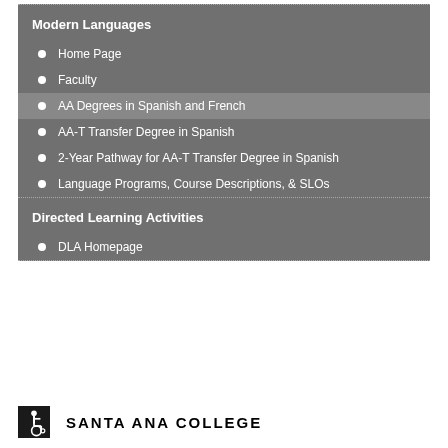Modern Languages
Home Page
Faculty
AA Degrees in Spanish and French
AA-T Transfer Degree in Spanish
2-Year Pathway for AA-T Transfer Degree in Spanish
Language Programs, Course Descriptions, & SLOs
Directed Learning Activities
DLA Homepage
[Figure (logo): Santa Ana College logo with wheelchair accessibility icon and text SANTA ANA COLLEGE]